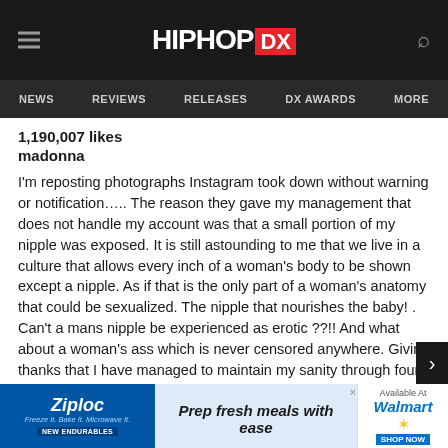HIPHOP DX
NEWS  REVIEWS  RELEASES  DX AWARDS  MORE
1,190,007 likes
madonna
I'm reposting photographs Instagram took down without warning or notification….. The reason they gave my management that does not handle my account was that a small portion of my nipple was exposed. It is still astounding to me that we live in a culture that allows every inch of a woman's body to be shown except a nipple. As if that is the only part of a woman's anatomy that could be sexualized. The nipple that nourishes the baby! . Can't a mans nipple be experienced as erotic ??!! And what about a woman's ass which is never censored anywhere. Giving thanks that I have managed to maintain my sanity through four decades of censorship……. sexism……ageism and misogyny. Perfectly timed with the lies we have been raised to believe about the pilgrims peacefully breaking bread with the Native American Indians… Ame